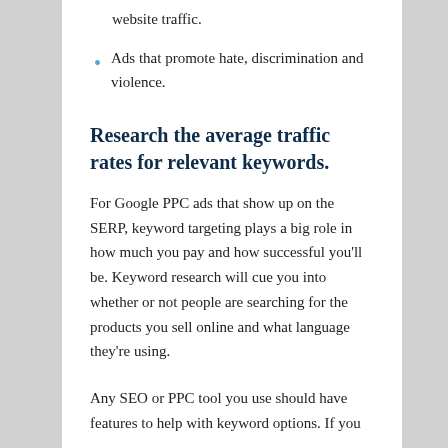website traffic.
Ads that promote hate, discrimination and violence.
Research the average traffic rates for relevant keywords.
For Google PPC ads that show up on the SERP, keyword targeting plays a big role in how much you pay and how successful you'll be. Keyword research will cue you into whether or not people are searching for the products you sell online and what language they're using.
Any SEO or PPC tool you use should have features to help with keyword options. If you